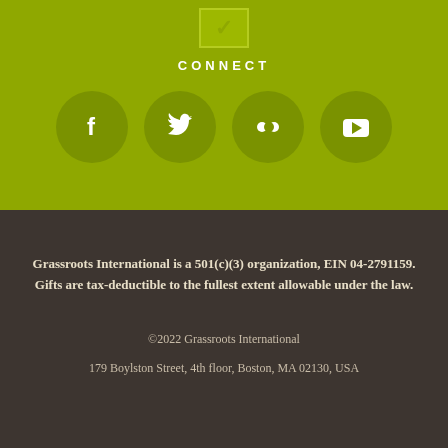[Figure (infographic): Green background section with a checkmark box at top, CONNECT label, and four social media icons (Facebook, Twitter, Flickr, YouTube) in dark olive circles]
Grassroots International is a 501(c)(3) organization, EIN 04-2791159. Gifts are tax-deductible to the fullest extent allowable under the law.
©2022 Grassroots International
179 Boylston Street, 4th floor, Boston, MA 02130, USA